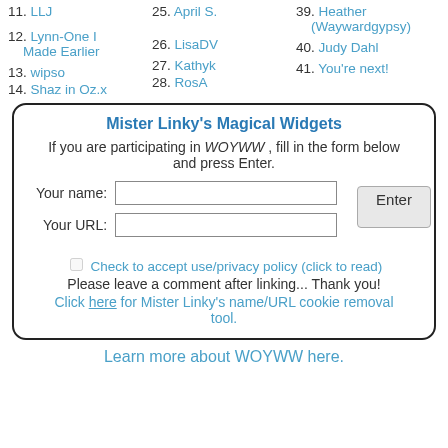11. LLJ
12. Lynn-One I Made Earlier
13. wipso
14. Shaz in Oz.x
25. April S.
26. LisaDV
27. Kathyk
28. RosA
39. Heather (Waywardgypsy)
40. Judy Dahl
41. You're next!
[Figure (screenshot): Mister Linky's Magical Widgets form widget with name/URL fields, Enter button, privacy checkbox, and cookie removal link]
Learn more about WOYWW here.